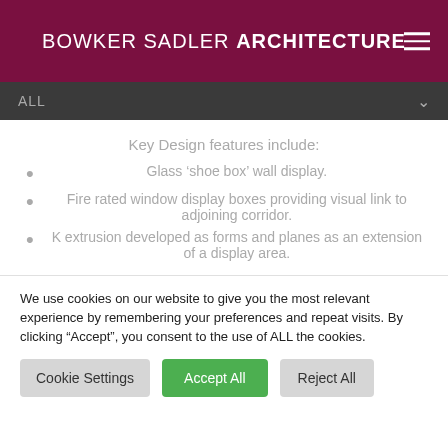BOWKER SADLER ARCHITECTURE
ALL
Key Design features include:
Glass ‘shoe box’ wall display.
Fire rated window display boxes providing visual link to adjoining corridor.
K extrusion developed as forms and planes as an extension of a display area.
We use cookies on our website to give you the most relevant experience by remembering your preferences and repeat visits. By clicking “Accept”, you consent to the use of ALL the cookies.